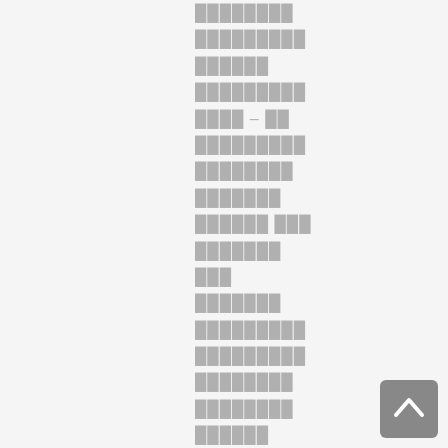[redacted text lines in non-Latin script]
[Figure (other): Back to top button with upward chevron arrow icon, dark gray rounded square button in bottom right corner]